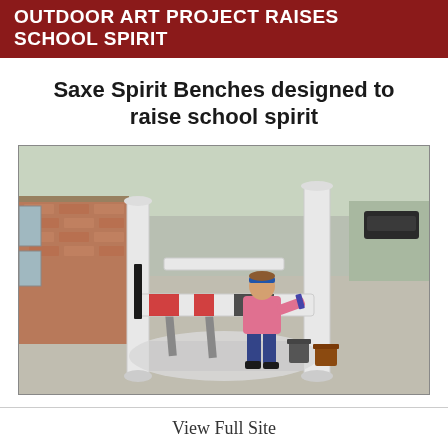OUTDOOR ART PROJECT RAISES SCHOOL SPIRIT
Saxe Spirit Benches designed to raise school spirit
[Figure (photo): A student painting a bench outside a school building. The bench is decorated with red, white, and black paint. Paint cans and drop cloths are on the ground. White columns and a brick building are in the background.]
View Full Site